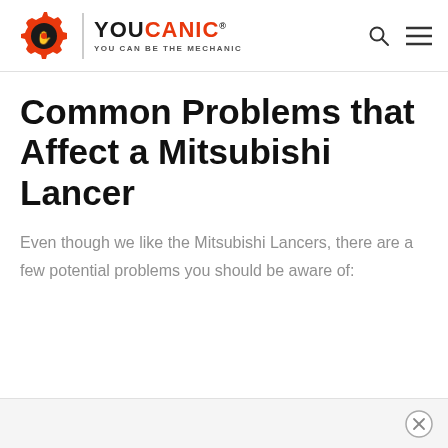YOUCANIC — YOU CAN BE THE MECHANIC
Common Problems that Affect a Mitsubishi Lancer
Even though we like the Mitsubishi Lancers, there are a few potential problems you should be aware of: